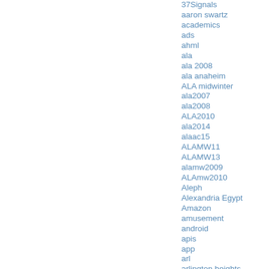37Signals
aaron swartz
academics
ads
ahml
ala
ala 2008
ala anaheim
ALA midwinter
ala2007
ala2008
ALA2010
ala2014
alaac15
ALAMW11
ALAMW13
alamw2009
ALAmw2010
Aleph
Alexandria Egypt
Amazon
amusement
android
apis
app
arl
arlington heights
armenian
astroturfing
ato
attention
australia
australian